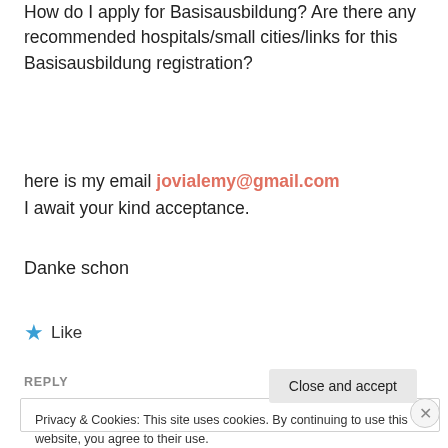How do I apply for Basisausbildung? Are there any recommended hospitals/small cities/links for this Basisausbildung registration?
here is my email jovialemy@gmail.com
I await your kind acceptance.
Danke schon
★ Like
REPLY
Privacy & Cookies: This site uses cookies. By continuing to use this website, you agree to their use.
To find out more, including how to control cookies, see here: Cookie Policy